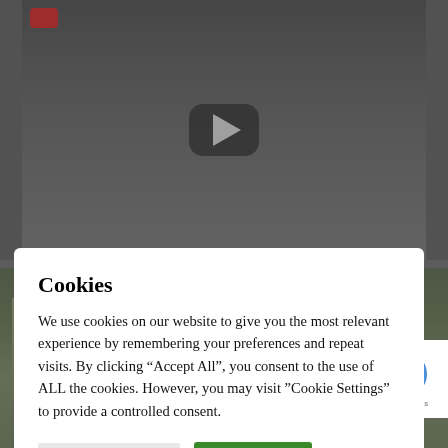[Figure (screenshot): YouTube video thumbnail with play button and boats on a river/lake in a green landscape]
Cookies
We use cookies on our website to give you the most relevant experience by remembering your preferences and repeat visits. By clicking “Accept All”, you consent to the use of ALL the cookies. However, you may visit “Cookie Settings” to provide a controlled consent.
Cookie Settings
Accept All
Translate »